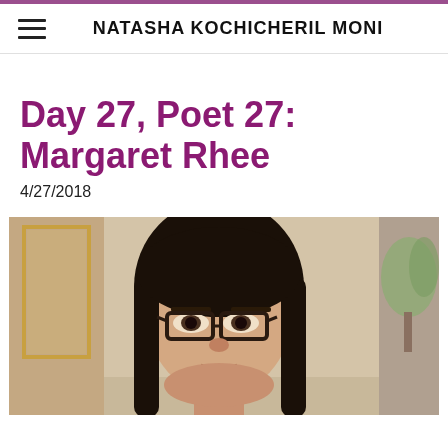NATASHA KOCHICHERIL MONI
Day 27, Poet 27: Margaret Rhee
4/27/2018
[Figure (photo): Portrait photo of Margaret Rhee, a woman with long dark hair and dark-framed glasses, photographed indoors with plants and decorative elements in the background.]